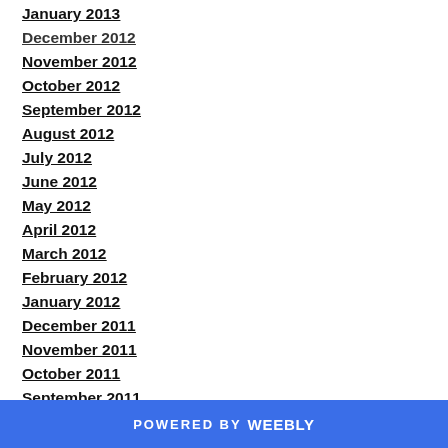January 2013
December 2012
November 2012
October 2012
September 2012
August 2012
July 2012
June 2012
May 2012
April 2012
March 2012
February 2012
January 2012
December 2011
November 2011
October 2011
September 2011
POWERED BY weebly